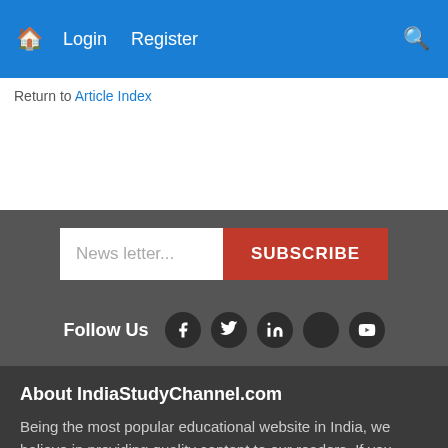Home | Login | Register | Search
Return to Article Index
News letter... SUBSCRIBE
Follow Us
About IndiaStudyChannel.com
Being the most popular educational website in India, we believe in providing quality content to our readers. If you have any questions or concerns regarding any content published here, feel free to contact us using the Contact link below.